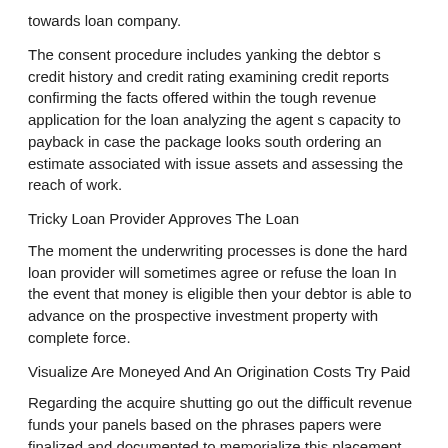towards loan company.
The consent procedure includes yanking the debtor s credit history and credit rating examining credit reports confirming the facts offered within the tough revenue application for the loan analyzing the agent s capacity to payback in case the package looks south ordering an estimate associated with issue assets and assessing the reach of work.
Tricky Loan Provider Approves The Loan
The moment the underwriting processes is done the hard loan provider will sometimes agree or refuse the loan In the event that money is eligible then your debtor is able to advance on the prospective investment property with complete force.
Visualize Are Moneyed And An Origination Costs Try Paid
Regarding the acquire shutting go out the difficult revenue funds your panels based on the phrases papers were finalized and documented to memorialize this placement and protected the add a deed of count on and promissory note.